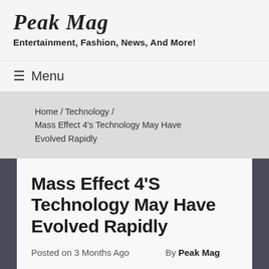Peak Mag
Entertainment, Fashion, News, And More!
≡ Menu
Home / Technology / Mass Effect 4's Technology May Have Evolved Rapidly
Mass Effect 4'S Technology May Have Evolved Rapidly
Posted on 3 Months Ago    By  Peak Mag